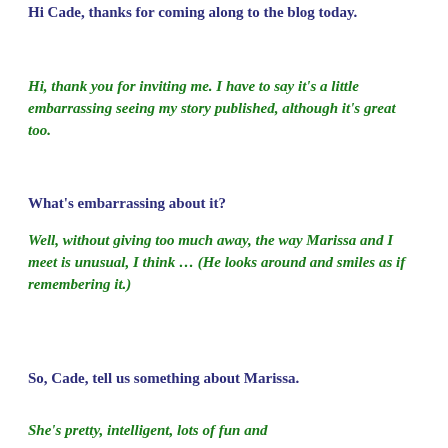Hi Cade, thanks for coming along to the blog today.
Hi, thank you for inviting me. I have to say it's a little embarrassing seeing my story published, although it's great too.
What's embarrassing about it?
Well, without giving too much away, the way Marissa and I meet is unusual, I think … (He looks around and smiles as if remembering it.)
So, Cade, tell us something about Marissa.
She's pretty, intelligent, lots of fun and